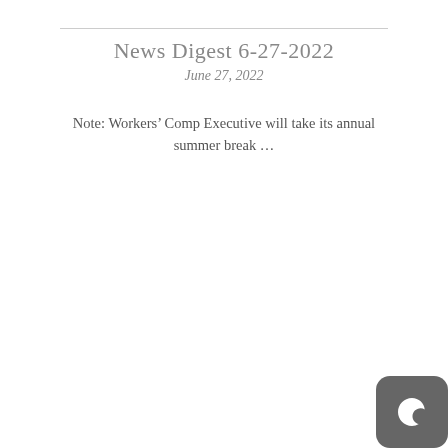News Digest 6-27-2022
June 27, 2022
Note: Workers’ Comp Executive will take its annual summer break …
[Figure (infographic): Advertisement banner: 'learn 8 big ideas for marketing yourself Win With W/Comp Dvd' with a Click Here button. Dark mode icon in bottom right corner.]